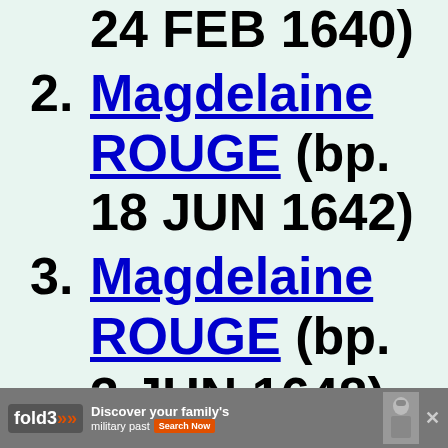24 FEB 1640)
2. Magdelaine ROUGE (bp. 18 JUN 1642)
3. Magdelaine ROUGE (bp. 3 JUN 1648)
4. Jean...
[Figure (other): Advertisement banner for Fold3 by Ancestry: 'Discover your family's military past' with Search Now button and photo of soldier]